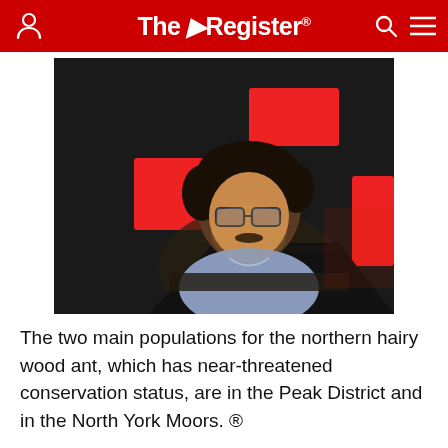The Register
[Figure (photo): Young man with curly hair and glasses sitting in a dark room illuminated by red square lights on the wall, looking down at a laptop screen]
The two main populations for the northern hairy wood ant, which has near-threatened conservation status, are in the Peak District and in the North York Moors. ®